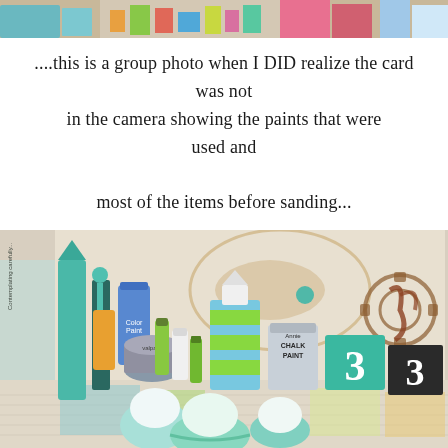[Figure (photo): Top strip photo showing colorful craft supplies and papers on a table]
....this is a group photo when I DID realize the card was not in the camera showing the paints that were used and most of the items before sanding...
[Figure (photo): Photo of craft items including painted wooden objects, paint cans (including chalk paint), fishing bobbers painted in teal and white, spray paint, and various craft supplies arranged on newspaper on a table with a decorative background]